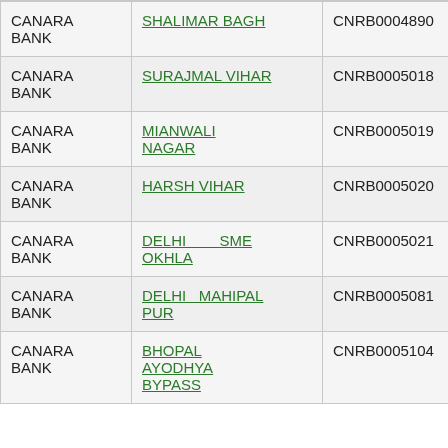| CANARA BANK | SHALIMAR BAGH | CNRB0004890 | WAITING |
| CANARA BANK | SURAJMAL VIHAR | CNRB0005018 | WAITING |
| CANARA BANK | MIANWALI NAGAR | CNRB0005019 | WAITING |
| CANARA BANK | HARSH VIHAR | CNRB0005020 | 110015227 |
| CANARA BANK | DELHI SME OKHLA | CNRB0005021 | 110015226 |
| CANARA BANK | DELHI MAHIPAL PUR | CNRB0005081 | WAITING |
| CANARA BANK | BHOPAL AYODHYA BYPASS | CNRB0005104 | WAITING |